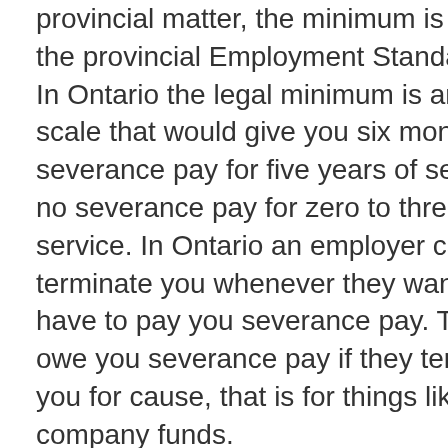provincial matter, the minimum is stated in the provincial Employment Standards Acts. In Ontario the legal minimum is an rising scale that would give you six months severance pay for five years of service and no severance pay for zero to three months service. In Ontario an employer can terminate you whenever they want, they just have to pay you severance pay. They don't owe you severance pay if they terminate you for cause, that is for things like stealing company funds.

Various contract-worker